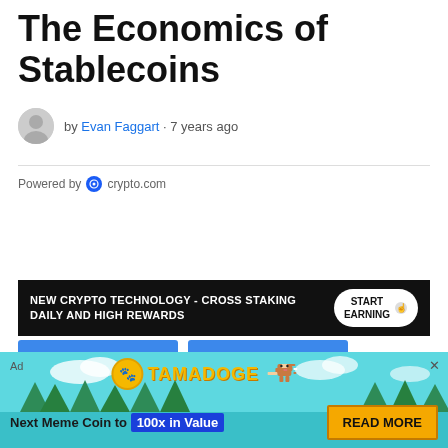The Economics of Stablecoins
by Evan Faggart · 7 years ago
Powered by crypto.com
[Figure (infographic): Advertisement banner: NEW CRYPTO TECHNOLOGY - CROSS STAKING DAILY AND HIGH REWARDS with START EARNING button]
[Figure (infographic): Ad banner for Tamadoge: Next Meme Coin to 100x in Value - READ MORE button]